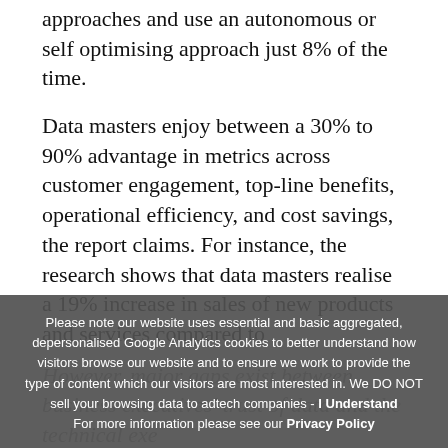approaches and use an autonomous or self optimising approach just 8% of the time.
Data masters enjoy between a 30% to 90% advantage in metrics across customer engagement, top-line benefits, operational efficiency, and cost savings, the report claims. For instance, the research shows that data masters realise a 19% increase in sales of new products and services compared to
However, major gaps exist between business executives' trust of data and the technical exe[cution — improvements for in]...
Please note our website uses essential and basic aggregated, depersonalised Google Analytics cookies to better understand how visitors browse our website and to ensure we work to provide the type of content which our visitors are most interested in. We DO NOT sell your browsing data to adtech companies - I Understand
For more information please see our Privacy Policy